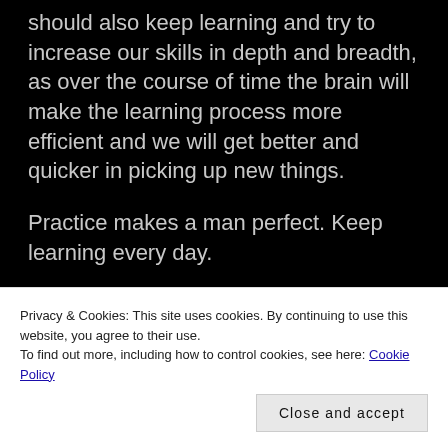should also keep learning and try to increase our skills in depth and breadth, as over the course of time the brain will make the learning process more efficient and we will get better and quicker in picking up new things.
Practice makes a man perfect. Keep learning every day.
SHARE THIS:
Privacy & Cookies: This site uses cookies. By continuing to use this website, you agree to their use.
To find out more, including how to control cookies, see here: Cookie Policy